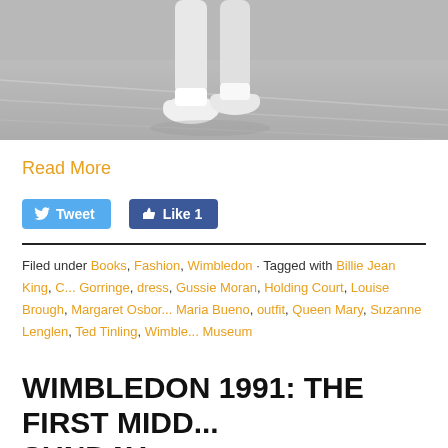[Figure (photo): Black and white photo showing legs and feet of a tennis player on a court, with white shoes/socks visible. Court lines are visible on the ground.]
Read More
Tweet   Like 1
Filed under Books, Fashion, Wimbledon · Tagged with Billie Jean King, C... Gorringe, dress, Gussie Moran, Holding Court, Louise Brough, Margaret Osbor... Maria Bueno, outfit, Queen Mary, Suzanne Lenglen, Ted Tinling, Wimble... Museum
WIMBLEDON 1991: THE FIRST MIDD... SUNDAY